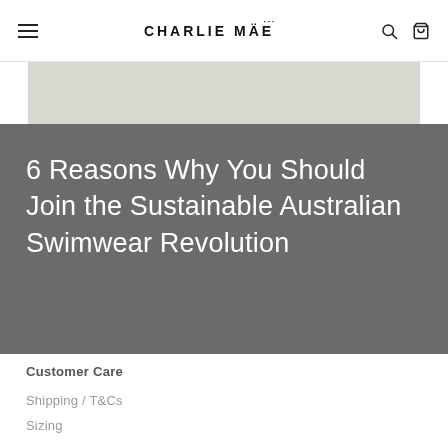CHARLIE MÄE
[Figure (photo): Light grey/beige image strip partially visible below the header navigation bar]
6 Reasons Why You Should Join the Sustainable Australian Swimwear Revolution
Customer Care
Shipping / T&Cs
Sizing